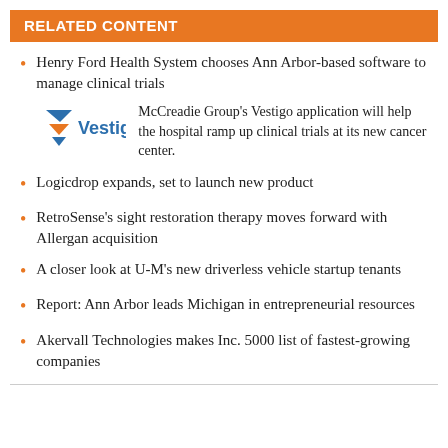RELATED CONTENT
Henry Ford Health System chooses Ann Arbor-based software to manage clinical trials
[Figure (logo): Vestigo logo — funnel/triangle icon in blue and orange with 'Vestigo' wordmark]
McCreadie Group's Vestigo application will help the hospital ramp up clinical trials at its new cancer center.
Logicdrop expands, set to launch new product
RetroSense's sight restoration therapy moves forward with Allergan acquisition
A closer look at U-M's new driverless vehicle startup tenants
Report: Ann Arbor leads Michigan in entrepreneurial resources
Akervall Technologies makes Inc. 5000 list of fastest-growing companies